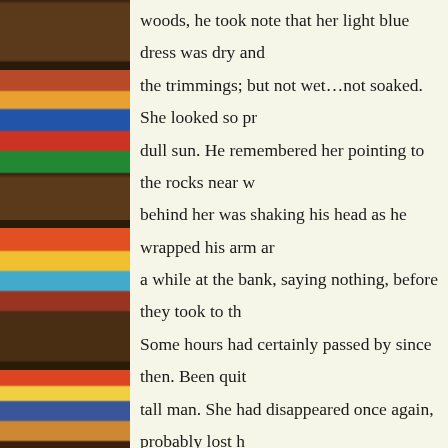[Figure (photo): A bookshelf filled with colorful books of various sizes, viewed from the side, with dark wooden shelves.]
woods, he took note that her light blue dress was dry and the trimmings; but not wet…not soaked. She looked so pr dull sun. He remembered her pointing to the rocks near w behind her was shaking his head as he wrapped his arm ar a while at the bank, saying nothing, before they took to th Some hours had certainly passed by since then. Been quit tall man. She had disappeared once again, probably lost h Again.

    Denis pushed himself up, took foot along the bank thickets across the thin river. The thickets were greener ar ago. Tried to call out again, but his voice was gone –mayb